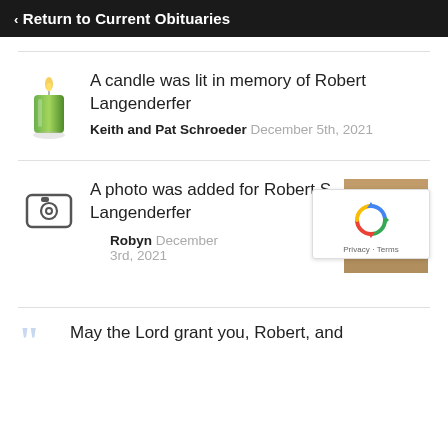« Return to Current Obituaries
A candle was lit in memory of Robert Langenderfer
Keith and Pat Schroeder December 5th, 2021
A photo was added for Robert S. Langenderfer
Robyn December 3rd, 2021
May the Lord grant you, Robert, and